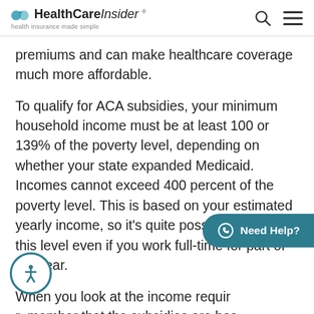HealthCareInsider — health insurance made simple
premiums and can make healthcare coverage much more affordable.
To qualify for ACA subsidies, your minimum household income must be at least 100 or 139% of the poverty level, depending on whether your state expanded Medicaid. Incomes cannot exceed 400 percent of the poverty level. This is based on your estimated yearly income, so it's quite possible to meet this level even if you work full-time for part of the year.
When you look at the income requir... remember that the subsidies are bas... e of the entire household. If you are still a tax dependent, then your parents' income would be